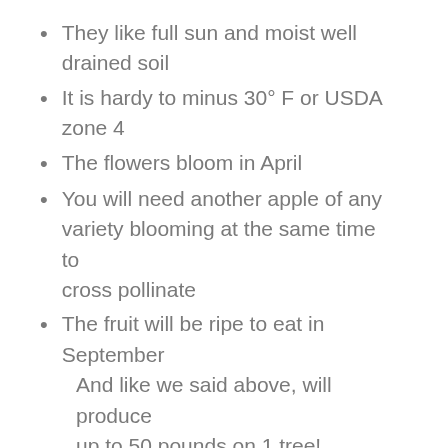They like full sun and moist well drained soil
It is hardy to minus 30° F or USDA zone 4
The flowers bloom in April
You will need another apple of any variety blooming at the same time to cross pollinate
The fruit will be ripe to eat in September
And like we said above, will produce up to 50 pounds on 1 tree!
They will have a very small branches with the length maxing out at less than a foot. The Northpole (similar to the McIntosh), Golden Sentinel